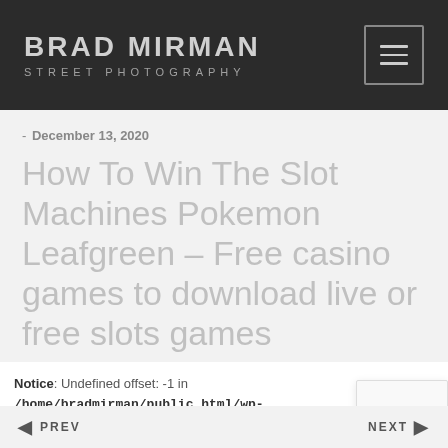BRAD MIRMAN STREET PHOTOGRAPHY
- December 13, 2020
How To Win The Slot Machines Pokemon Leafgreen – Free casino games to download live or free slots games
Notice: Undefined offset: -1 in /home/bradmirman/public_html/wp-content/themes/bradmirman/single.php on line 49
PREV   NEXT